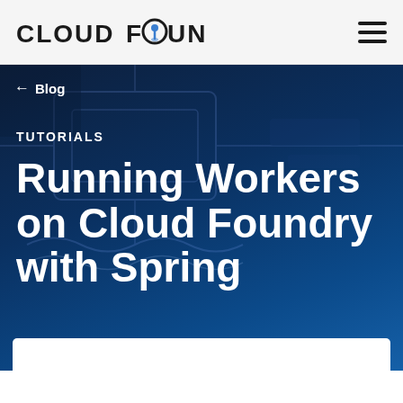[Figure (logo): Cloud Foundry logo with pin/location marker icon inside the letter O]
CLOUD FOUNDRY
← Blog
TUTORIALS
Running Workers on Cloud Foundry with Spring